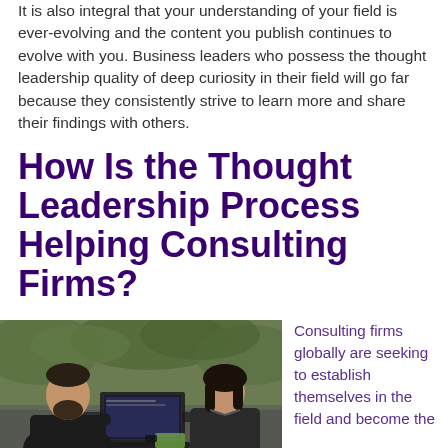It is also integral that your understanding of your field is ever-evolving and the content you publish continues to evolve with you. Business leaders who possess the thought leadership quality of deep curiosity in their field will go far because they consistently strive to learn more and share their findings with others.
How Is the Thought Leadership Process Helping Consulting Firms?
[Figure (photo): Two business professionals sitting outdoors at a table with a laptop, engaged in conversation. Man with beard on left, woman with dark hair on right, greenery in background.]
Consulting firms globally are seeking to establish themselves in the field and become the